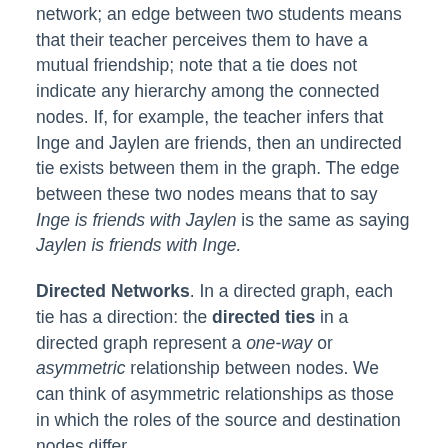network; an edge between two students means that their teacher perceives them to have a mutual friendship; note that a tie does not indicate any hierarchy among the connected nodes. If, for example, the teacher infers that Inge and Jaylen are friends, then an undirected tie exists between them in the graph. The edge between these two nodes means that to say Inge is friends with Jaylen is the same as saying Jaylen is friends with Inge.
Directed Networks. In a directed graph, each tie has a direction: the directed ties in a directed graph represent a one-way or asymmetric relationship between nodes. We can think of asymmetric relationships as those in which the roles of the source and destination nodes differ.
Earlier, we described a network to model mentorship and advising between political scientists (see figure 10.3). For each...